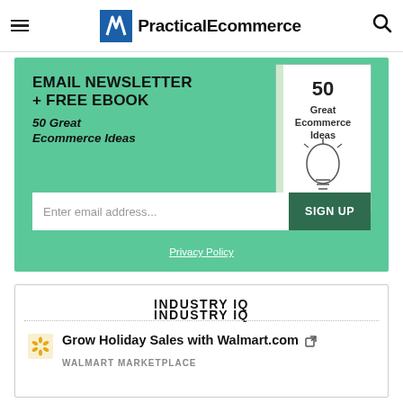PracticalEcommerce
[Figure (infographic): Green newsletter signup banner with text 'EMAIL NEWSLETTER + FREE EBOOK / 50 Great Ecommerce Ideas', an email input field, a SIGN UP button, a Privacy Policy link, and a book cover image for '50 Great Ecommerce Ideas']
INDUSTRY IQ
Grow Holiday Sales with Walmart.com
WALMART MARKETPLACE